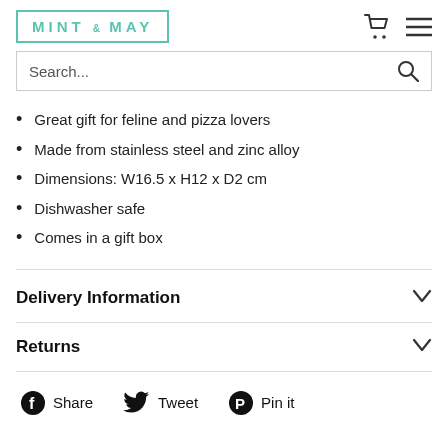[Figure (logo): Mint & May logo in teal/mint color with rectangular border]
[Figure (other): Shopping cart and hamburger menu icons]
Search...
Great gift for feline and pizza lovers
Made from stainless steel and zinc alloy
Dimensions: W16.5 x H12 x D2 cm
Dishwasher safe
Comes in a gift box
Delivery Information
Returns
Share  Tweet  Pin it